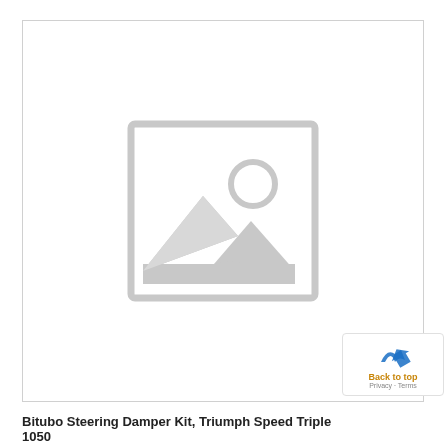[Figure (photo): Placeholder image showing a generic image icon (mountain landscape with sun) indicating no product photo is available, inside a bordered box.]
Back to top
Bitubo Steering Damper Kit, Triumph Speed Triple 1050